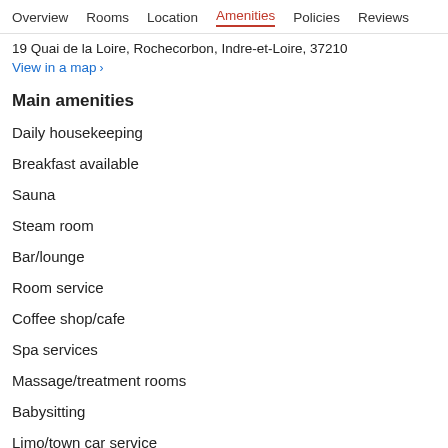Overview  Rooms  Location  Amenities  Policies  Reviews
19 Quai de la Loire, Rochecorbon, Indre-et-Loire, 37210
View in a map  >
Main amenities
Daily housekeeping
Breakfast available
Sauna
Steam room
Bar/lounge
Room service
Coffee shop/cafe
Spa services
Massage/treatment rooms
Babysitting
Limo/town car service
Terrace